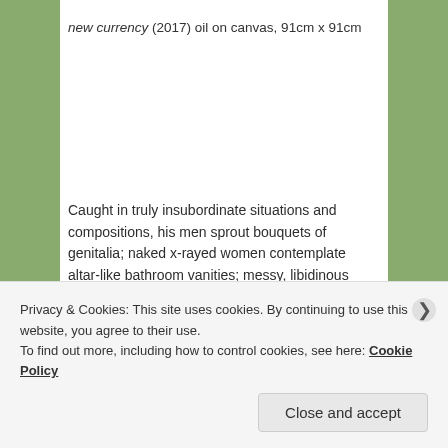new currency (2017) oil on canvas, 91cm x 91cm
Caught in truly insubordinate situations and compositions, his men sprout bouquets of genitalia; naked x-rayed women contemplate altar-like bathroom vanities; messy, libidinous blobs reach out to each other through strange appendages; genderless humans speak through misshapen, prickly cadmium red thought bubbles in sap
Privacy & Cookies: This site uses cookies. By continuing to use this website, you agree to their use.
To find out more, including how to control cookies, see here: Cookie Policy
Close and accept